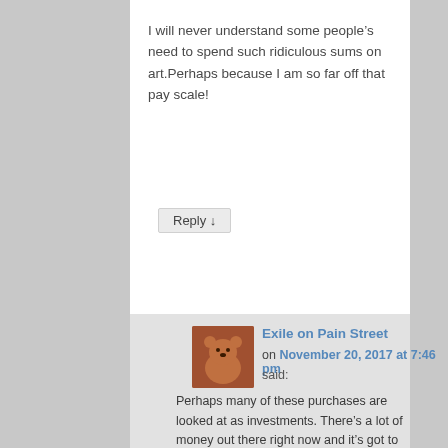I will never understand some people’s need to spend such ridiculous sums on art.Perhaps because I am so far off that pay scale!
Reply ↓
Exile on Pain Street on November 20, 2017 at 7:46 pm said:
Perhaps many of these purchases are looked at as investments. There’s a lot of money out there right now and it’s got to be parked somewhere. Gambling and financing Broadway musicals are both losing proposition. Contemporary art? No guarantees but better odds.
Reply ↓